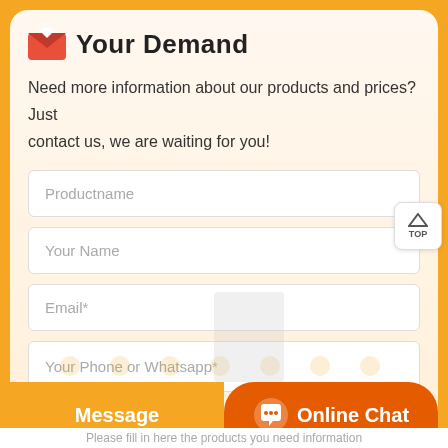Your Demand
Need more information about our products and prices?Just contact us, we are waiting for you!
Productname
Your Name
Email*
Your Phone or Whatsapp*
Message
Online Chat
Please fill in here the products you need information